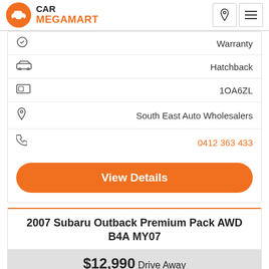[Figure (logo): Car Megamart logo with orange circle, car icon, and text]
Hatchback
1OA6ZL
South East Auto Wholesalers
0412 363 433
View Details
2007 Subaru Outback Premium Pack AWD B4A MY07
$12,990 Drive Away